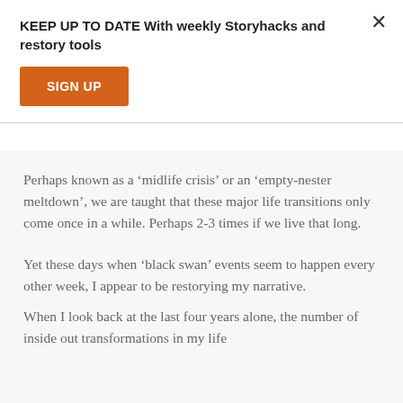KEEP UP TO DATE With weekly Storyhacks and restory tools
SIGN UP
Perhaps known as a ‘midlife crisis’ or an ‘empty-nester meltdown’, we are taught that these major life transitions only come once in a while. Perhaps 2-3 times if we live that long.
Yet these days when ‘black swan’ events seem to happen every other week, I appear to be restorying my narrative.
When I look back at the last four years alone, the number of inside out transformations in my life